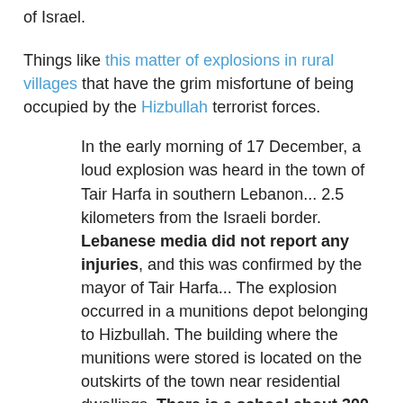of Israel.
Things like this matter of explosions in rural villages that have the grim misfortune of being occupied by the Hizbullah terrorist forces.
In the early morning of 17 December, a loud explosion was heard in the town of Tair Harfa in southern Lebanon... 2.5 kilometers from the Israeli border. Lebanese media did not report any injuries, and this was confirmed by the mayor of Tair Harfa... The explosion occurred in a munitions depot belonging to Hizbullah. The building where the munitions were stored is located on the outskirts of the town near residential dwellings. There is a school about 300 meters from the munitions depot. Immediately following the explosion, dozens of Hizbullah men sealed off the area and proceeded to erase all evidence of the incident, flattening the warehouse and removing what was left of the arms and explosives that had been stored there. UNIFIL soldiers arrived in the